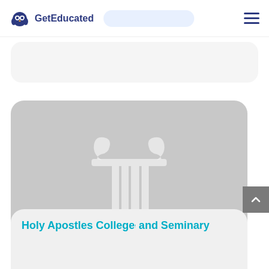GetEducated
[Figure (illustration): Gray placeholder card with white column/pillar icon representing an educational institution]
Holy Apostles College and Seminary